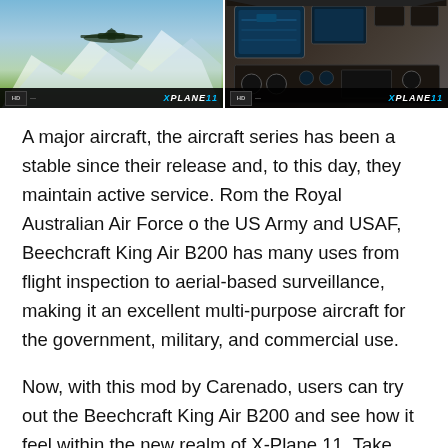[Figure (screenshot): Two side-by-side screenshots from X-Plane 11. Left: aerial view of Beechcraft King Air B200 flying over snowy mountains. Right: cockpit interior view with instrument panel. Both have HD badge and X-PLANE 11 logo overlaid.]
A major aircraft, the aircraft series has been a stable since their release and, to this day, they maintain active service. Rom the Royal Australian Air Force o the US Army and USAF, Beechcraft King Air B200 has many uses from flight inspection to aerial-based surveillance, making it an excellent multi-purpose aircraft for the government, military, and commercial use.
Now, with this mod by Carenado, users can try out the Beechcraft King Air B200 and see how it feel within the new realm of X-Plane 11. Take advantage of its new hardware specifications and see for yourself why the Beechcraft King Air B200 is still in use for over 30 years!